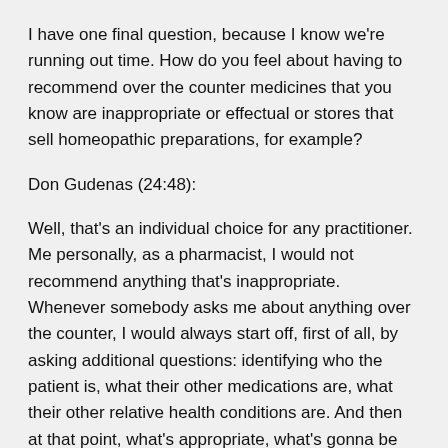I have one final question, because I know we're running out time. How do you feel about having to recommend over the counter medicines that you know are inappropriate or effectual or stores that sell homeopathic preparations, for example?
Don Gudenas (24:48):
Well, that's an individual choice for any practitioner. Me personally, as a pharmacist, I would not recommend anything that's inappropriate. Whenever somebody asks me about anything over the counter, I would always start off, first of all, by asking additional questions: identifying who the patient is, what their other medications are, what their other relative health conditions are. And then at that point, what's appropriate, what's gonna be based on evidence based medicine, I guess is the best way to describe it. If a medication has a good track record and clinical evidence to back it up, then it's gonna be something that's gonna have